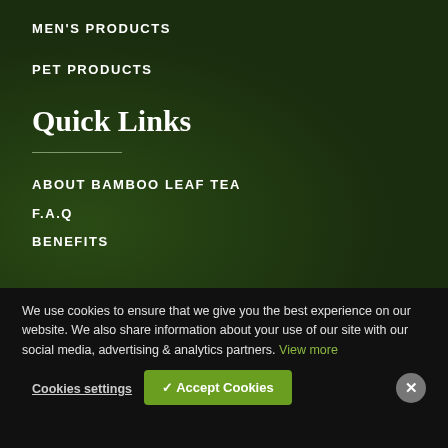MEN'S PRODUCTS
PET PRODUCTS
Quick Links
ABOUT BAMBOO LEAF TEA
F.A.Q
BENEFITS
We use cookies to ensure that we give you the best experience on our website. We also share information about your use of our site with our social media, advertising & analytics partners. View more
Cookies settings
✓ Accept Cookies
✕